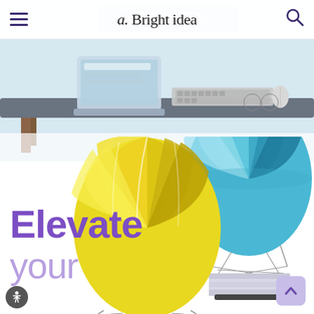a. Bright idea
[Figure (photo): Desk scene with laptop, keyboard, glasses, and office supplies on a light blue/grey desk with wooden legs. Semi-transparent overlay with text 'DYNAMIC CONTENT'.]
[Figure (illustration): Three hot air balloons: a blue/teal striped balloon in the upper right, a large yellow balloon in the center, and a smaller purple balloon in the lower right. All are illustrated in a flat vector style with rope/basket details.]
Elevate your
[Figure (logo): Circular accessibility icon (person in circle) in bottom left corner.]
[Figure (other): Back to top arrow button in bottom right corner (chevron up in light purple rounded square).]